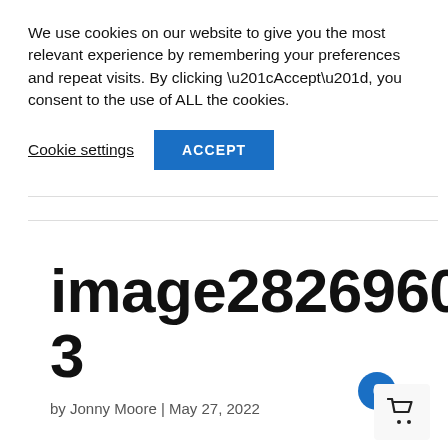We use cookies on our website to give you the most relevant experience by remembering your preferences and repeat visits. By clicking “Accept”, you consent to the use of ALL the cookies.
Cookie settings  ACCEPT
image282696033
by Jonny Moore | May 27, 2022